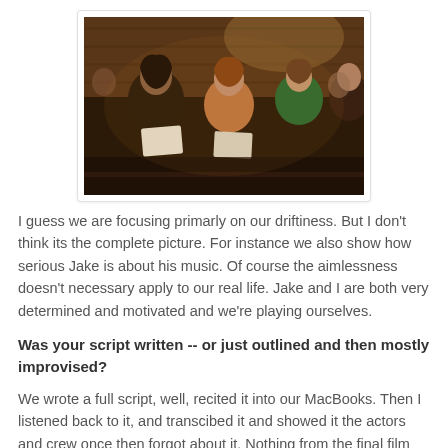[Figure (photo): People sitting in rows, appearing to be at a church or auditorium event, holding papers/books, photographed in dim indoor lighting.]
I guess we are focusing primarly on our driftiness. But I don't think its the complete picture. For instance we also show how serious Jake is about his music. Of course the aimlessness doesn't necessary apply to our real life. Jake and I are both very determined and motivated and we're playing ourselves.
Was your script written -- or just outlined and then mostly improvised?
We wrote a full script, well, recited it into our MacBooks. Then I listened back to it, and transcibed it and showed it the actors and crew once then forgot about it. Nothing from the final film was printed.